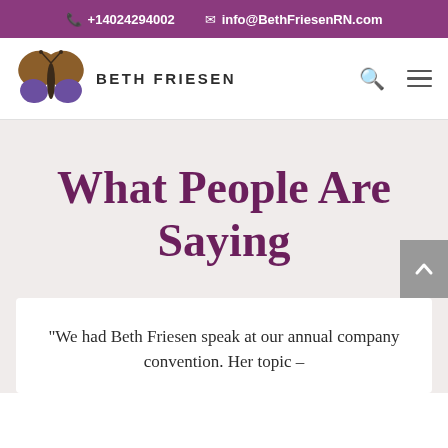+14024294002  info@BethFriesenRN.com
[Figure (logo): Beth Friesen butterfly logo with brown and purple wings, alongside the text BETH FRIESEN in bold sans-serif]
What People Are Saying
“We had Beth Friesen speak at our annual company convention. Her topic –